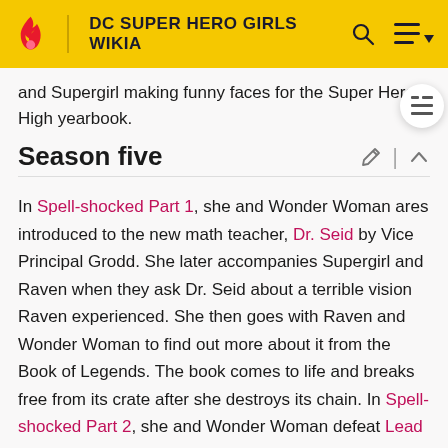DC SUPER HERO GIRLS WIKIA
and Supergirl making funny faces for the Super Hero High yearbook.
Season five
In Spell-shocked Part 1, she and Wonder Woman ares introduced to the new math teacher, Dr. Seid by Vice Principal Grodd. She later accompanies Supergirl and Raven when they ask Dr. Seid about a terrible vision Raven experienced. She then goes with Raven and Wonder Woman to find out more about it from the Book of Legends. The book comes to life and breaks free from its crate after she destroys its chain. In Spell-shocked Part 2, she and Wonder Woman defeat Lead after the Book of Legends brings him to life and remarks on the equation